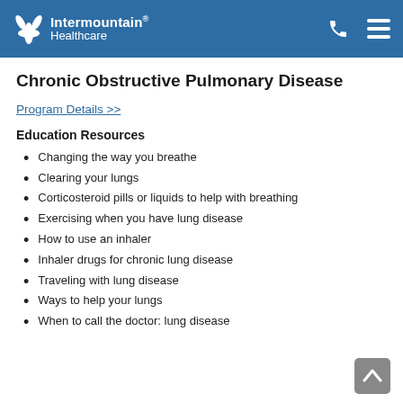Intermountain Healthcare
Chronic Obstructive Pulmonary Disease
Program Details >>
Education Resources
Changing the way you breathe
Clearing your lungs
Corticosteroid pills or liquids to help with breathing
Exercising when you have lung disease
How to use an inhaler
Inhaler drugs for chronic lung disease
Traveling with lung disease
Ways to help your lungs
When to call the doctor: lung disease